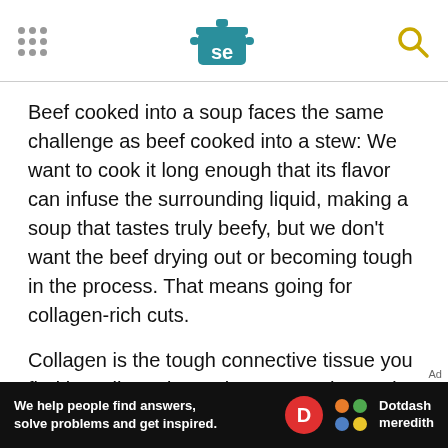Serious Eats header with logo
Beef cooked into a soup faces the same challenge as beef cooked into a stew: We want to cook it long enough that its flavor can infuse the surrounding liquid, making a soup that tastes truly beefy, but we don't want the beef drying out or becoming tough in the process. That means going for collagen-rich cuts.
Collagen is the tough connective tissue you find in well-used muscle groups. The tender cuts of beef that we typically reserve for quick-cooking applications—the tenderloin, the strip, the ribeye,
[Figure (other): Dotdash Meredith advertisement banner: 'We help people find answers, solve problems and get inspired.' with Dotdash Meredith logo]